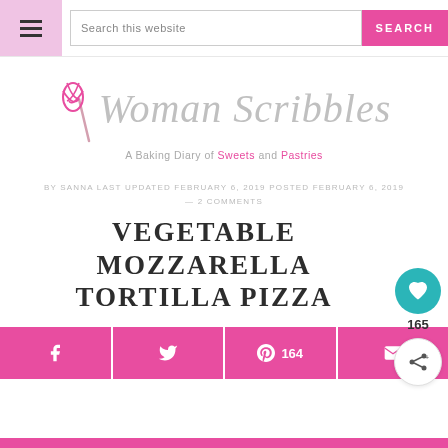Woman Scribbles — A Baking Diary of Sweets and Pastries
[Figure (logo): Woman Scribbles logo with pink whisk and italic gray text, tagline: A Baking Diary of Sweets and Pastries]
BY SANNA LAST UPDATED FEBRUARY 6, 2019 POSTED FEBRUARY 6, 2019 — 2 COMMENTS
VEGETABLE MOZZARELLA TORTILLA PIZZA
[Figure (infographic): Social share sidebar with heart icon (165) and share icon]
[Figure (infographic): Social sharing buttons row: Facebook, Twitter, Pinterest (164), Email]